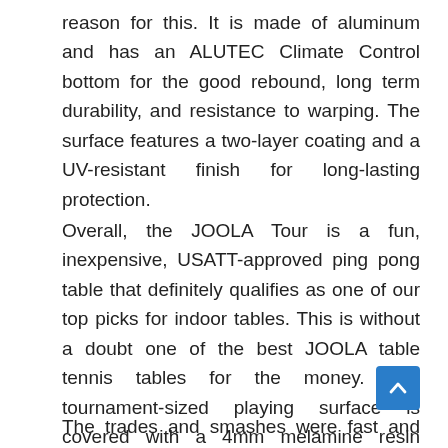reason for this. It is made of aluminum and has an ALUTEC Climate Control bottom for the good rebound, long term durability, and resistance to warping. The surface features a two-layer coating and a UV-resistant finish for long-lasting protection.
Overall, the JOOLA Tour is a fun, inexpensive, USATT-approved ping pong table that definitely qualifies as one of our top picks for indoor tables. This is without a doubt one of the best JOOLA table tennis tables for the money. The tournament-sized playing surface is covered with a 4mm melamine resin coating, making it one of the best games we've tested.
The trades and smashes were fast and furious, and